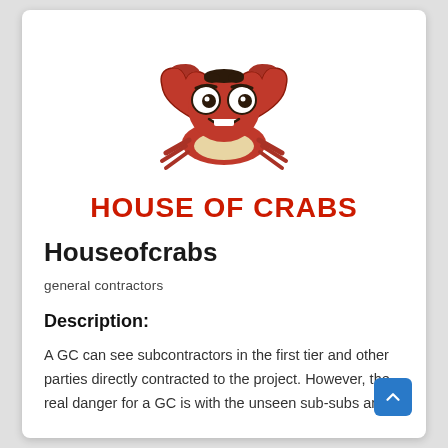[Figure (logo): House of Crabs cartoon crab logo with red crab character holding claws up, smiling, with large eyes]
HOUSE OF CRABS
Houseofcrabs
general contractors
Description:
A GC can see subcontractors in the first tier and other parties directly contracted to the project. However, the real danger for a GC is with the unseen sub-subs and